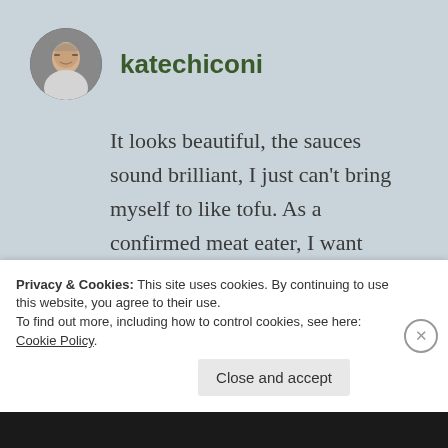[Figure (photo): Round avatar photo of a woman with glasses smiling, gray hair]
katechiconi
It looks beautiful, the sauces sound brilliant, I just can't bring myself to like tofu. As a confirmed meat eater, I want something more… chewy/substantial, I
Privacy & Cookies: This site uses cookies. By continuing to use this website, you agree to their use. To find out more, including how to control cookies, see here: Cookie Policy
Close and accept